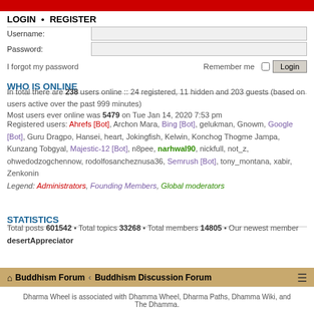Buddhism Forum header bar
LOGIN • REGISTER
Username: [input field]
Password: [input field]
I forgot my password   Remember me [checkbox] Login
WHO IS ONLINE
In total there are 238 users online :: 24 registered, 11 hidden and 203 guests (based on users active over the past 999 minutes)
Most users ever online was 5479 on Tue Jan 14, 2020 7:53 pm
Registered users: Ahrefs [Bot], Archon Mara, Bing [Bot], gelukman, Gnowm, Google [Bot], Guru Dragpo, Hansei, heart, Jokingfish, Kelwin, Konchog Thogme Jampa, Kunzang Tobgyal, Majestic-12 [Bot], n8pee, narhwal90, nickfull, not_z, ohwedodzogchennow, rodolfosancheznusa36, Semrush [Bot], tony_montana, xabir, Zenkonin
Legend: Administrators, Founding Members, Global moderators
STATISTICS
Total posts 601542 • Total topics 33268 • Total members 14805 • Our newest member desertAppreciator
Buddhism Forum ‹ Buddhism Discussion Forum
Dharma Wheel is associated with Dhamma Wheel, Dharma Paths, Dhamma Wiki, and The Dhamma.